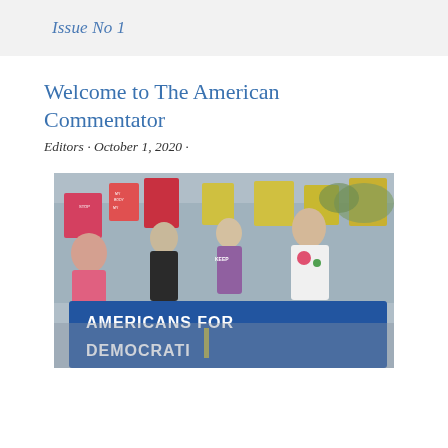Issue No 1
Welcome to The American Commentator
Editors · October 1, 2020 ·
[Figure (photo): Crowd of people at a rally or march holding a large blue banner reading 'AMERICANS FOR DEMOCRATI...' with protest signs in the background]